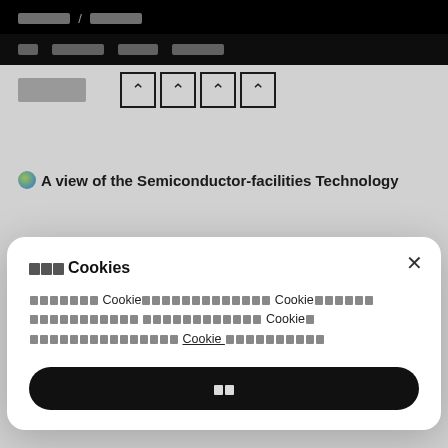███████ / ███████
██  ███████  █████  ███████
[Figure (screenshot): Navigation bar with placeholder text icons and image icon buttons]
🌐 A view of the Semiconductor-facilities Technology
███Cookies
███████ Cookie████████████████ Cookie███████ ████████████ █████████████████████ Cookie█ ████████████████ Cookie██████████████
██